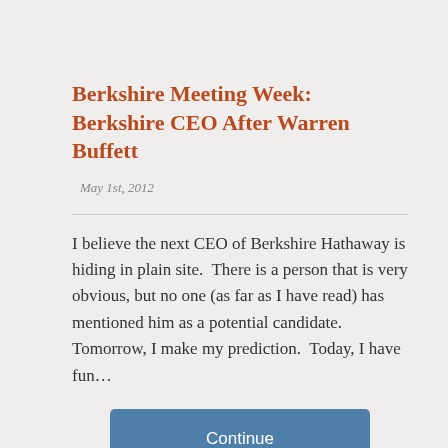Berkshire Meeting Week: Berkshire CEO After Warren Buffett
May 1st, 2012
I believe the next CEO of Berkshire Hathaway is hiding in plain site.  There is a person that is very obvious, but no one (as far as I have read) has mentioned him as a potential candidate.  Tomorrow, I make my prediction.  Today, I have fun…
Continue reading →